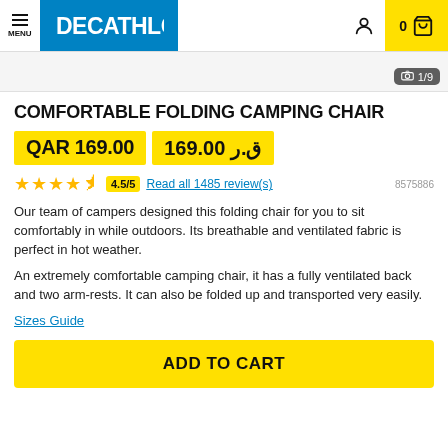MENU | DECATHLON | 0 (cart)
[Figure (screenshot): Partial product image area with 1/9 image counter badge]
COMFORTABLE FOLDING CAMPING CHAIR
QAR 169.00 | 169.00 ق.ر
★★★★½ 4.5/5 Read all 1485 review(s) 8575886
Our team of campers designed this folding chair for you to sit comfortably in while outdoors. Its breathable and ventilated fabric is perfect in hot weather.
An extremely comfortable camping chair, it has a fully ventilated back and two arm-rests. It can also be folded up and transported very easily.
Sizes Guide
ADD TO CART